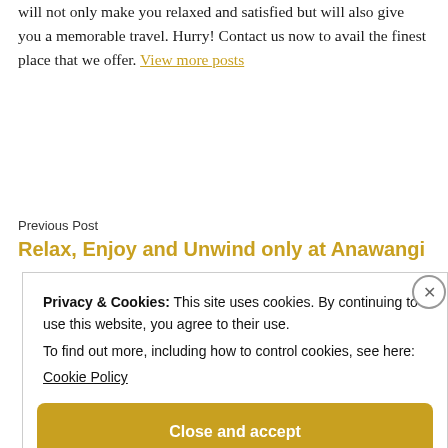will not only make you relaxed and satisfied but will also give you a memorable travel. Hurry! Contact us now to avail the finest place that we offer. View more posts
Previous Post
Relax, Enjoy and Unwind only at Anawangi
Privacy & Cookies: This site uses cookies. By continuing to use this website, you agree to their use.
To find out more, including how to control cookies, see here:
Cookie Policy
Close and accept